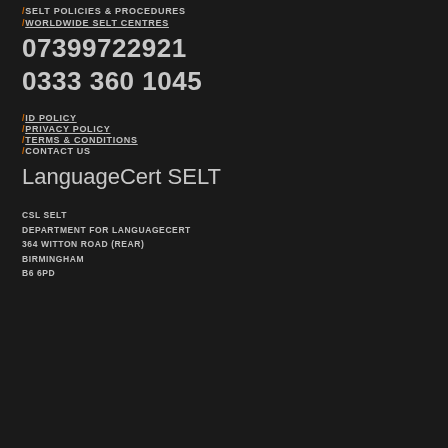/SELT POLICIES & PROCEDURES
/WORLDWIDE SELT CENTRES
07399722921
0333 360 1045
/ID POLICY
/PRIVACY POLICY
/TERMS & CONDITIONS
/CONTACT US
LanguageCert SELT
CSL SELT
DEPARTMENT FOR LANGUAGECERT
364 WITTON ROAD (REAR)
BIRMINGHAM
B6 6PD